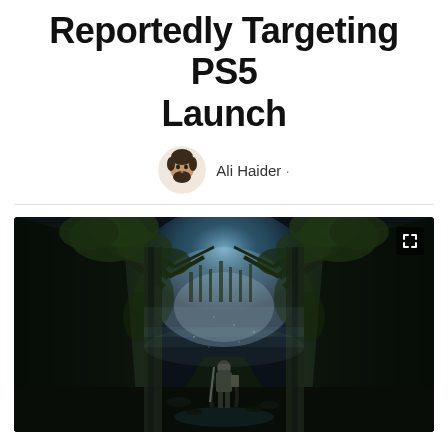Reportedly Targeting PS5 Launch
Ali Haider ·
[Figure (screenshot): Dark atmospheric screenshot from Demon's Souls remake showing a lone warrior in a misty ruined corridor with overgrown trees and gothic architecture]
Demon's Souls is getting a full-fledged remake from Bluepoint Games. It doesn't have a release window